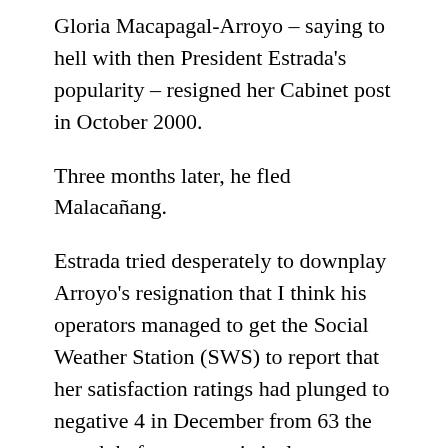Gloria Macapagal-Arroyo – saying to hell with then President Estrada's popularity – resigned her Cabinet post in October 2000.
Three months later, he fled Malacañang.
Estrada tried desperately to downplay Arroyo's resignation that I think his operators managed to get the Social Weather Station (SWS) to report that her satisfaction ratings had plunged to negative 4 in December from 63 the month before – a statistical impossibility, but a fallacy believed by many political strategists. (By March, it was 24.)
There are, of course, counter-examples. Vice Presidents Fernando Lopez, Salvador Laurel and